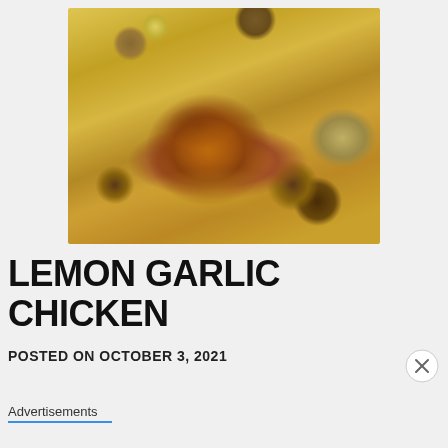[Figure (photo): Close-up photo of lemon garlic chicken breast, golden-brown and charred on top, surrounded by roasted mushrooms, lemon slices, and onions in a buttery sauce]
LEMON GARLIC CHICKEN
POSTED ON OCTOBER 3, 2021
Advertisements